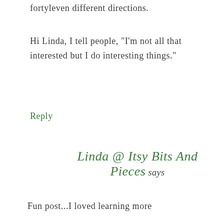fortyleven different directions.
Hi Linda, I tell people, "I'm not all that interested but I do interesting things."
Reply
Linda @ Itsy Bits And Pieces says
Fun post...I loved learning more